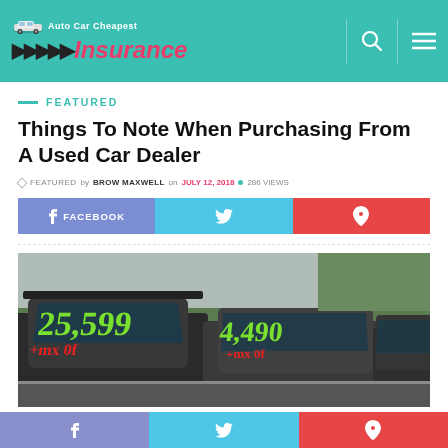Auto Car Cheapest Insurance
FEATURED
Things To Note When Purchasing From A Used Car Dealer
FEATURED by BROW MAXWELL on JULY 12, 2018 • 286 VIEWS
[Figure (photo): Row of used cars at a dealership with green and red price signs painted on windshields]
f  twitter  pinterest